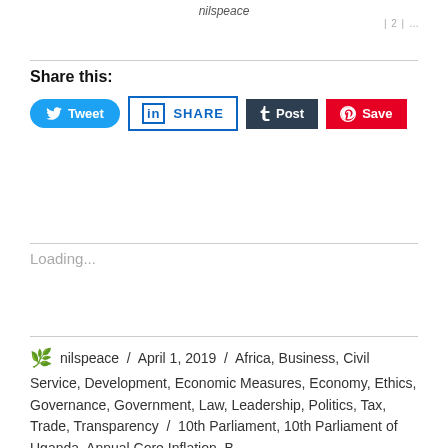nilspeace
1 2 ...
Share this:
[Figure (screenshot): Social share buttons: Tweet (Twitter/blue), SHARE (LinkedIn/outlined), Post (Tumblr/dark), Save (Pinterest/red)]
Loading...
nilspeace / April 1, 2019 / Africa, Business, Civil Service, Development, Economic Measures, Economy, Ethics, Governance, Government, Law, Leadership, Politics, Tax, Trade, Transparency / 10th Parliament, 10th Parliament of Uganda, Annual Core Inflation, B-